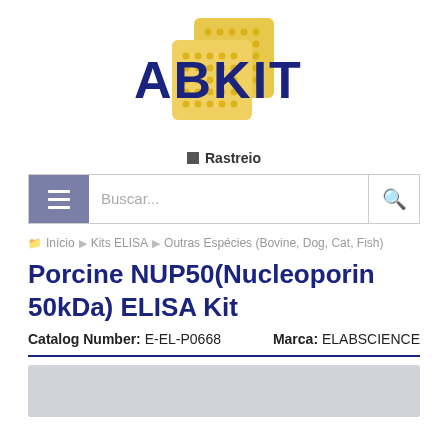[Figure (logo): ABKIT logo with yellow honeycomb-like squares and dark blue bold text 'ABKIT']
Rastreio
[Figure (screenshot): Search bar with hamburger menu icon on the left and magnifying glass icon on the right, placeholder text 'Buscar...']
Início > Kits ELISA > Outras Espécies (Bovine, Dog, Cat, Fish)
Porcine NUP50(Nucleoporin 50kDa) ELISA Kit
Catalog Number: E-EL-P0668    Marca: ELABSCIENCE
[Figure (photo): Light gray image area at the bottom of the page (product image placeholder)]